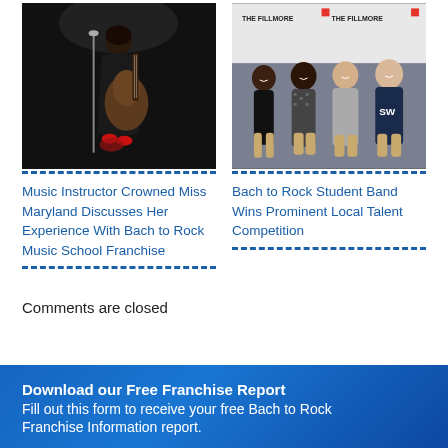[Figure (photo): Woman playing acoustic guitar on stage, dark background, wearing black dress and red heels]
[Figure (photo): Four teenage boys standing in front of The Fillmore venue backdrop]
Music Instructor Crowned Miss Maryland Discusses Her Experience With Bach to Rock Music School Franchise
Bach to Rock Student Band Wins Prominent Local Talent Competition
Comments are closed
Download our Free Franchise Report
Fill out this form to receive your free Bach to Rock Franchise Information report.